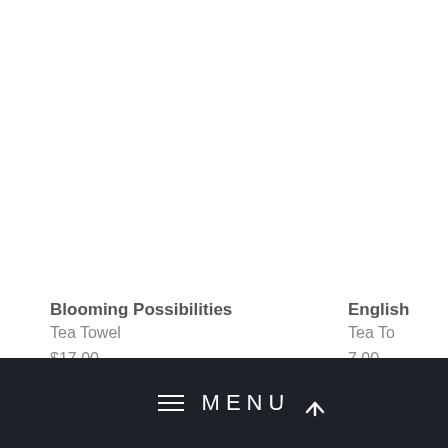Blooming Possibilities
Tea Towel
$17.00
English
Tea To
7.00
ADD TO CART
MENU